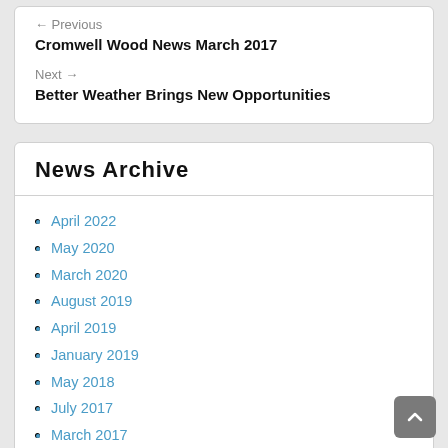← Previous
Cromwell Wood News March 2017
Next →
Better Weather Brings New Opportunities
News Archive
April 2022
May 2020
March 2020
August 2019
April 2019
January 2019
May 2018
July 2017
March 2017